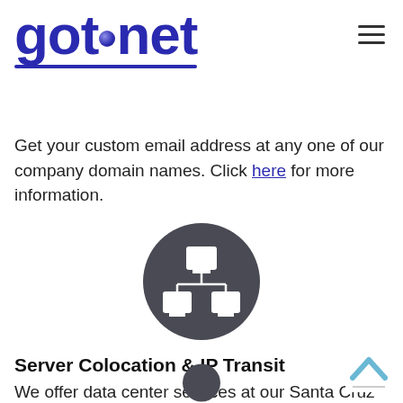[Figure (logo): got.net logo in dark blue bold text with a purple/blue globe dot between 'got' and 'net', with an underline beneath the text]
[Figure (other): Hamburger menu icon (three horizontal lines) in the top right corner]
Get your custom email address at any one of our company domain names. Click here for more information.
[Figure (illustration): Dark gray circle icon containing a white network/computer hierarchy diagram showing a monitor at top connected to two smaller monitors below]
Server Colocation & IP Transit
We offer data center services at our Santa Cruz location and our Salinas location. Click here for more information.
[Figure (illustration): Light blue chevron/arrow pointing up (scroll-to-top button) in the bottom right, and a partial dark gray circle visible at the bottom center]